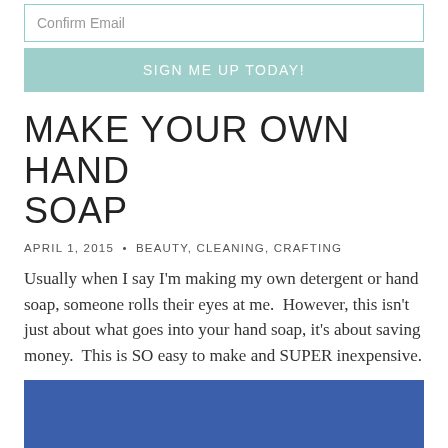[Figure (screenshot): Form input field labeled 'Confirm Email' with teal border]
[Figure (screenshot): Button labeled 'SIGN ME UP TODAY!' with light teal/mint background]
MAKE YOUR OWN HAND SOAP
APRIL 1, 2015 • BEAUTY, CLEANING, CRAFTING
Usually when I say I'm making my own detergent or hand soap, someone rolls their eyes at me.  However, this isn't just about what goes into your hand soap, it's about saving money.  This is SO easy to make and SUPER inexpensive.
[Figure (photo): Partial image of hand soap product with blue and orange circular design visible at bottom of page]